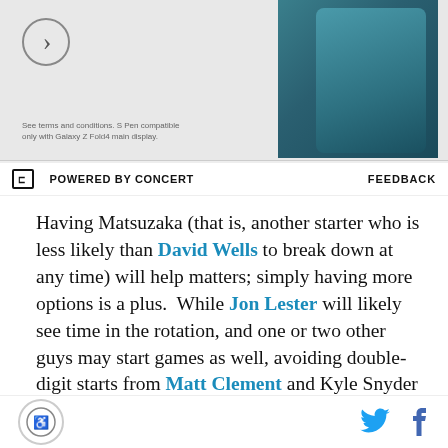[Figure (photo): Samsung Galaxy Z Fold4 advertisement banner with teal/dark phone image on right, circle arrow icon top left, small terms text bottom left]
POWERED BY CONCERT    FEEDBACK
Having Matsuzaka (that is, another starter who is less likely than David Wells to break down at any time) will help matters; simply having more options is a plus.  While Jon Lester will likely see time in the rotation, and one or two other guys may start games as well, avoiding double-digit starts from Matt Clement and Kyle Snyder will make this team better.  (Not to mention avoiding the 38 starts from Julian Tavarez, David Wells, Lenny DiNardo, Jason Johnson, Kason Gabbard, Kevin Jarvis, David Pauley, and Devern
accessibility icon, twitter icon, facebook icon